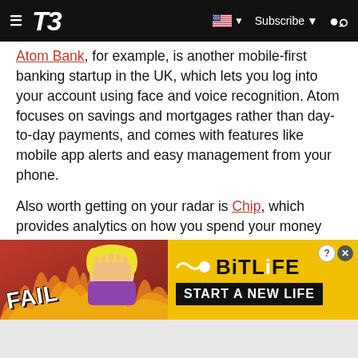T3 — Subscribe
Atom Bank, for example, is another mobile-first banking startup in the UK, which lets you log into your account using face and voice recognition. Atom focuses on savings and mortgages rather than day-to-day payments, and comes with features like mobile app alerts and easy management from your phone.
Also worth getting on your radar is Chip, which provides analytics on how you spend your money and automatically funnels savings out of your current account based on what it thinks you can spare. Money can be transferred with just a few taps and the app is so confident in its algorithms that it
[Figure (advertisement): BitLife mobile game advertisement banner with 'FAIL' text on left with flame/fire imagery and cartoon character, and 'BitLife START A NEW LIFE' on yellow/black background on the right]